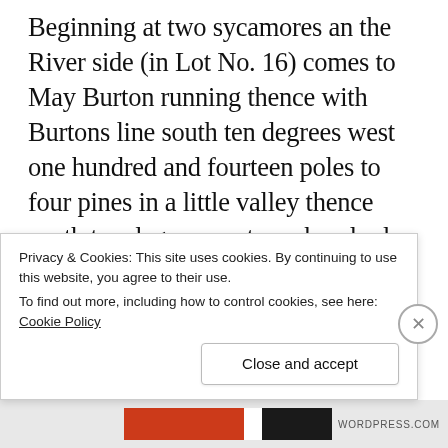Beginning at two sycamores an the River side (in Lot No. 16) comes to May Burton running thence with Burtons line south ten degrees west one hundred and fourteen poles to four pines in a little valley thence south ten degrees east one hundred and twenty four poles to two red oaks and hickory saplings on the south side of Rippon run thence south thirty two degrees west three hundred and twenty eight poles between a pine white and red oak on a hill in Joshua Shapps line thence north farty three degrees...
Privacy & Cookies: This site uses cookies. By continuing to use this website, you agree to their use.
To find out more, including how to control cookies, see here: Cookie Policy
Close and accept